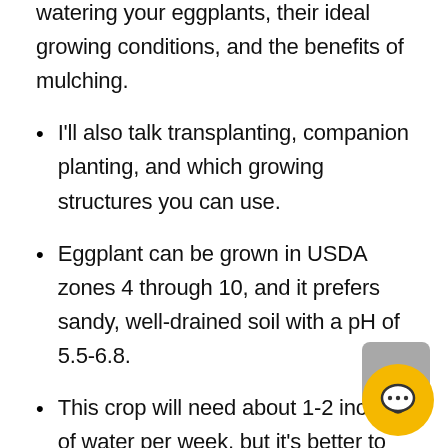everything you need to know about watering your eggplants, their ideal growing conditions, and the benefits of mulching.
I'll also talk transplanting, companion planting, and which growing structures you can use.
Eggplant can be grown in USDA zones 4 through 10, and it prefers sandy, well-drained soil with a pH of 5.5-6.8.
This crop will need about 1-2 inches of water per week, but it's better to thoroughly soak the soil once, rather than doing shorter more frequent waterings. That way, their roots will have to develop to reach all the moisture and won't become shallow.
They'll also need full sun for